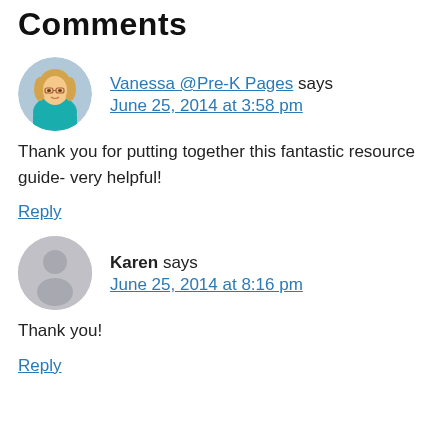Comments
Vanessa @Pre-K Pages says
June 25, 2014 at 3:58 pm
Thank you for putting together this fantastic resource guide- very helpful!
Reply
Karen says
June 25, 2014 at 8:16 pm
Thank you!
Reply